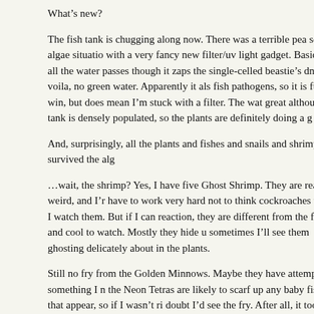What's new?
The fish tank is chugging along now. There was a terrible pea soup algae situation with a very fancy new filter/uv light gadget. Basically all the water passes though it zaps the single-celled beastie’s dna, and voila, no green water. Apparently it als fish pathogens, so it is full of win, but does mean I’m stuck with a filter. The wat great although the tank is densely populated, so the plants are definitely doing a g
And, surprisingly, all the plants and fishes and snails and shrimp survived the alg
…wait, the shrimp? Yes, I have five Ghost Shrimp. They are really weird, and I’r have to work very hard not to think cockroaches when I watch them. But if I can reaction, they are different from the fishes, and cool to watch. Mostly they hide u sometimes I’ll see them ghosting delicately about in the plants.
Still no fry from the Golden Minnows. Maybe they have attempted something I n the Neon Tetras are likely to scarf up any baby fishes that appear, so if I wasn’t ri doubt I’d see the fry. After all, it took me weeks to finally see the shrimp. I put th vanished. There is a forest of greenery in there at this point and anything could b two I was wondering whether I’d somehow lost the two-inch disc-shaped gouran just really well camouflaged by the weeds.
What else? The Siamese Algae Eaters have doubled in size. They just focus on ea doesn’t matter that they are big guys. They swim differently than the other fish d humming birds, their fins whirling away. And they are faster than anything else i of flash, I’m becoming fond of them.